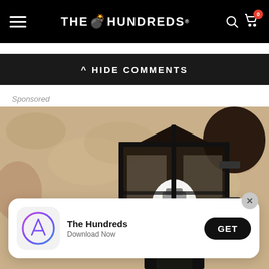THE HUNDREDS
^ HIDE COMMENTS
Sponsored
[Figure (photo): Close-up photo of a black wrought iron outdoor wall lantern mounted on a textured stucco wall, with a bright LED bulb glowing inside the lantern cage.]
The Hundreds
Download Now
GET